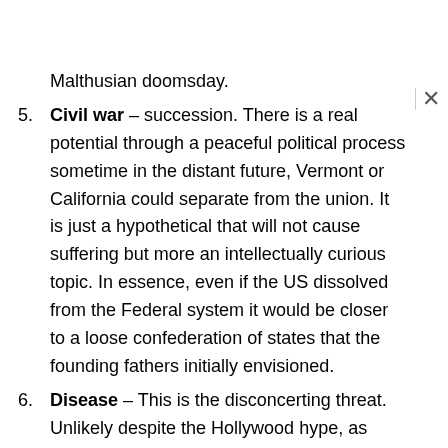Malthusian doomsday.
Civil war – succession. There is a real potential through a peaceful political process sometime in the distant future, Vermont or California could separate from the union. It is just a hypothetical that will not cause suffering but more an intellectually curious topic. In essence, even if the US dissolved from the Federal system it would be closer to a loose confederation of states that the founding fathers initially envisioned.
Disease – This is the disconcerting threat. Unlikely despite the Hollywood hype, as